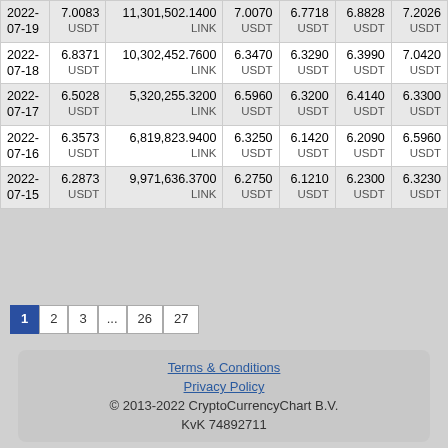| Date | Price | Volume | Open | Low | Close | High |
| --- | --- | --- | --- | --- | --- | --- |
| 2022-07-19 | 7.0083 USDT | 11,301,502.1400 LINK | 7.0070 USDT | 6.7718 USDT | 6.8828 USDT | 7.2026 USDT |
| 2022-07-18 | 6.8371 USDT | 10,302,452.7600 LINK | 6.3470 USDT | 6.3290 USDT | 6.3990 USDT | 7.0420 USDT |
| 2022-07-17 | 6.5028 USDT | 5,320,255.3200 LINK | 6.5960 USDT | 6.3200 USDT | 6.4140 USDT | 6.3300 USDT |
| 2022-07-16 | 6.3573 USDT | 6,819,823.9400 LINK | 6.3250 USDT | 6.1420 USDT | 6.2090 USDT | 6.5960 USDT |
| 2022-07-15 | 6.2873 USDT | 9,971,636.3700 LINK | 6.2750 USDT | 6.1210 USDT | 6.2300 USDT | 6.3230 USDT |
1 2 3 ... 26 27
List  Live  Top charts  My charts  Returns  Account  API  Support
Terms & Conditions
Privacy Policy
© 2013-2022 CryptoCurrencyChart B.V.
KvK 74892711